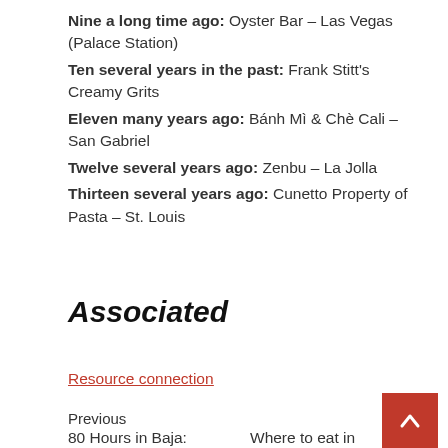Nine a long time ago: Oyster Bar – Las Vegas (Palace Station)
Ten several years in the past: Frank Stitt's Creamy Grits
Eleven many years ago: Bánh Mì & Chè Cali – San Gabriel
Twelve several years ago: Zenbu – La Jolla
Thirteen several years ago: Cunetto Property of Pasta – St. Louis
Associated
Resource connection
Previous
80 Hours in Baja: Puerto
Where to eat in Portland,